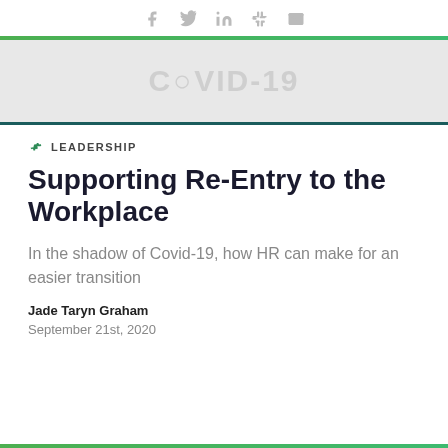Social share icons: Facebook, Twitter, LinkedIn, Slack, Email
[Figure (photo): COVID-19 banner hero image with large grey watermark text reading COVID-19]
LEADERSHIP
Supporting Re-Entry to the Workplace
In the shadow of Covid-19, how HR can make for an easier transition
Jade Taryn Graham
September 21st, 2020